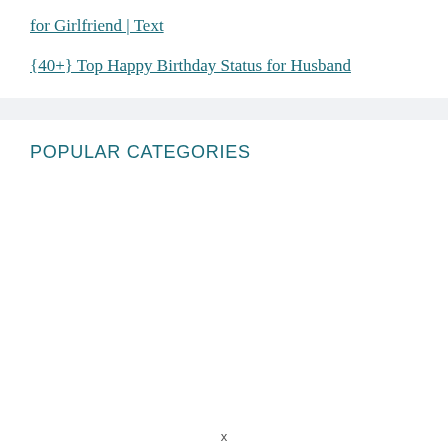for Girlfriend | Text
{40+} Top Happy Birthday Status for Husband
POPULAR CATEGORIES
x